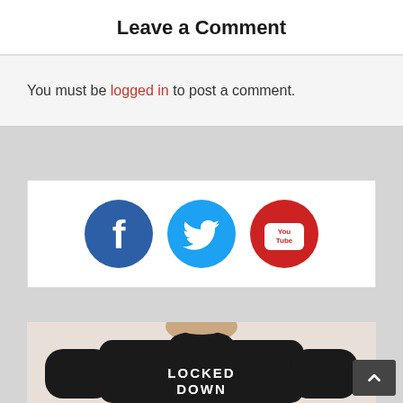Leave a Comment
You must be logged in to post a comment.
[Figure (illustration): Social media icons: Facebook (blue circle with white f), Twitter (light blue circle with white bird), YouTube (red circle with white YouTube logo)]
[Figure (photo): Man wearing a black t-shirt with text LOCKED DOWN printed in white block letters, smiling, photo cropped at chest level]